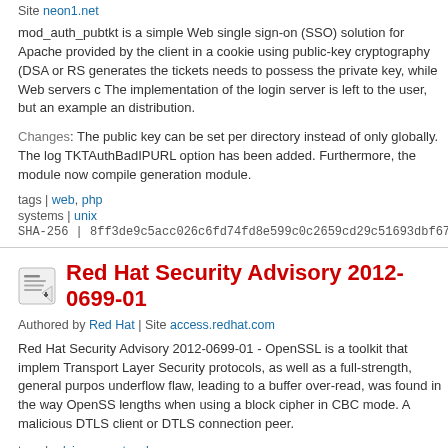Site neon1.net
mod_auth_pubtkt is a simple Web single sign-on (SSO) solution for Apache provided by the client in a cookie using public-key cryptography (DSA or RS generates the tickets needs to possess the private key, while Web servers c The implementation of the login server is left to the user, but an example an distribution.
Changes: The public key can be set per directory instead of only globally. The log TKTAuthBadIPURL option has been added. Furthermore, the module now compile generation module.
tags | web, php
systems | unix
SHA-256 | 8ff3de9c5acc026c6fd74fd8e599c0c2659cd29c51693dbf67a8bf
Red Hat Security Advisory 2012-0699-01
Authored by Red Hat | Site access.redhat.com
Red Hat Security Advisory 2012-0699-01 - OpenSSL is a toolkit that implem Transport Layer Security protocols, as well as a full-strength, general purpos underflow flaw, leading to a buffer over-read, was found in the way OpenSS lengths when using a block cipher in CBC mode. A malicious DTLS client or DTLS connection peer.
tags | advisory, protocol